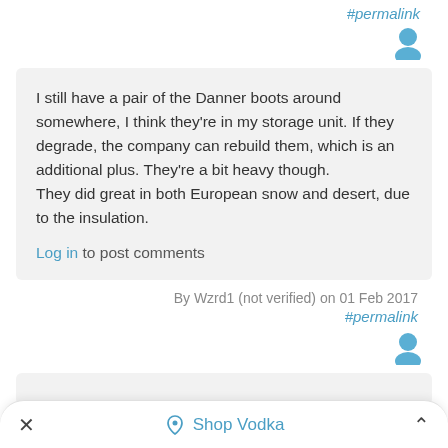#permalink
[Figure (illustration): User avatar icon (person silhouette, blue)]
I still have a pair of the Danner boots around somewhere, I think they're in my storage unit. If they degrade, the company can rebuild them, which is an additional plus. They're a bit heavy though.
They did great in both European snow and desert, due to the insulation.
Log in to post comments
By Wzrd1 (not verified) on 01 Feb 2017
#permalink
[Figure (illustration): User avatar icon (person silhouette, blue)]
Shop Vodka